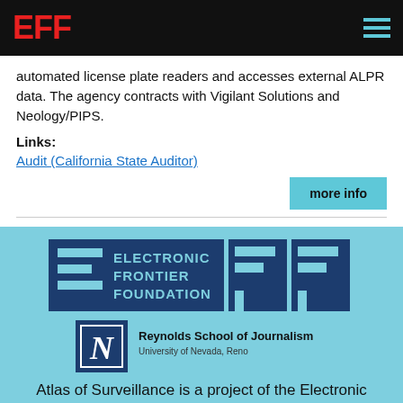EFF
automated license plate readers and accesses external ALPR data. The agency contracts with Vigilant Solutions and Neology/PIPS.
Links: Audit (California State Auditor)
more info
[Figure (logo): Electronic Frontier Foundation full logo with large EFF letters in dark blue on light blue background]
[Figure (logo): Reynolds School of Journalism, University of Nevada, Reno logo with stylized N in dark blue box]
Atlas of Surveillance is a project of the Electronic